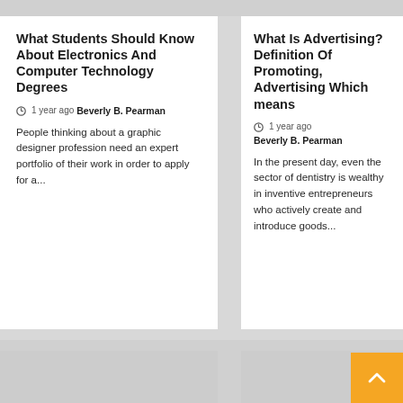What Students Should Know About Electronics And Computer Technology Degrees
1 year ago  Beverly B. Pearman
People thinking about a graphic designer profession need an expert portfolio of their work in order to apply for a...
What Is Advertising? Definition Of Promoting, Advertising Which means
1 year ago  Beverly B. Pearman
In the present day, even the sector of dentistry is wealthy in inventive entrepreneurs who actively create and introduce goods...
[Figure (photo): Bottom left image placeholder (gray)]
[Figure (photo): Bottom right image placeholder (gray) with orange back-to-top button]